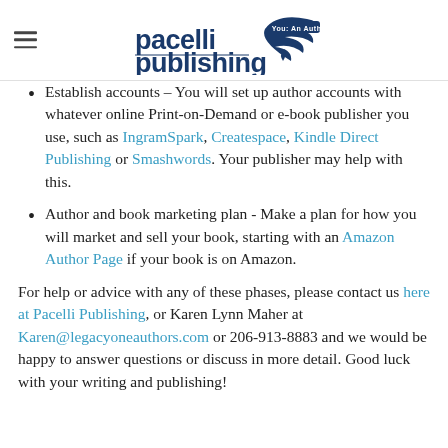[Figure (logo): Pacelli Publishing logo with eagle/bird icon and banner reading 'You: An Author!']
Establish accounts - You will set up author accounts with whatever online Print-on-Demand or e-book publisher you use, such as IngramSpark, Createspace, Kindle Direct Publishing or Smashwords. Your publisher may help with this.
Author and book marketing plan - Make a plan for how you will market and sell your book, starting with an Amazon Author Page if your book is on Amazon.
For help or advice with any of these phases, please contact us here at Pacelli Publishing, or Karen Lynn Maher at Karen@legacyoneauthors.com or 206-913-8883 and we would be happy to answer questions or discuss in more detail. Good luck with your writing and publishing!